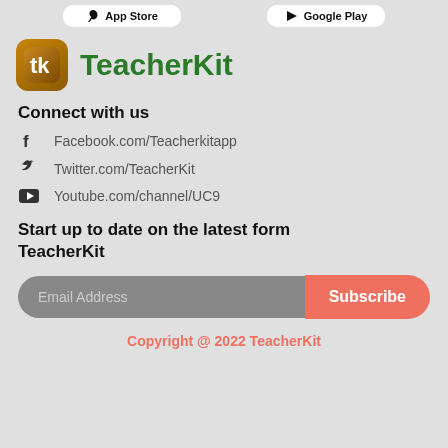[Figure (logo): App Store and Google Play store buttons at top]
TeacherKit
Connect with us
Facebook.com/Teacherkitapp
Twitter.com/TeacherKit
Youtube.com/channel/UC9
Start up to date on the latest form TeacherKit
Email Address  Subscribe
Copyright @ 2022 TeacherKit